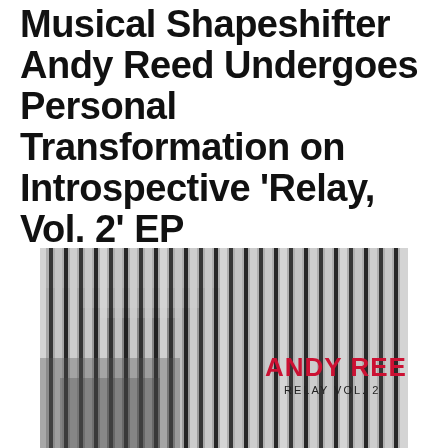Musical Shapeshifter Andy Reed Undergoes Personal Transformation on Introspective 'Relay, Vol. 2' EP
[Figure (illustration): Album cover for Andy Reed 'Relay Vol. 2' — grayscale architectural photo of vertical blinds or louvered facade with the artist name 'ANDY REED' in bold red text and subtitle 'RELAY VOL. 2' in dark text below.]